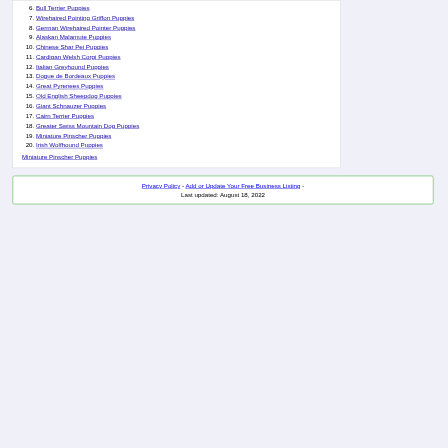6. Bull Terrier Puppies
7. Wirehaired Pointing Griffon Puppies
8. German Wirehaired Pointer Puppies
9. Alaskan Malamute Puppies
10. Chinese Shar Pei Puppies
11. Cardigan Welsh Corgi Puppies
12. Italian Greyhound Puppies
13. Dogue de Bordeaux Puppies
14. Great Pyrenees Puppies
15. Old English Sheepdog Puppies
16. Giant Schnauzer Puppies
17. Cairn Terrier Puppies
18. Greater Swiss Mountain Dog Puppies
19. Miniature Pinscher Puppies
20. Irish Wolfhound Puppies
Miniature Pinscher Puppies
Privacy Policy - Add or Update Your Free Business Listing - Last updated: August 18, 2022